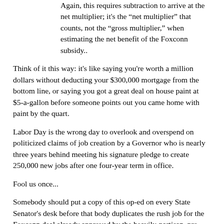Again, this requires subtraction to arrive at the net multiplier; it’s the “net multiplier” that counts, not the “gross multiplier,” when estimating the net benefit of the Foxconn subsidy..
Think of it this way: it’s like saying you’re worth a million dollars without deducting your $300,000 mortgage from the bottom line, or saying you got a great deal on house paint at $5-a-gallon before someone points out you came home with paint by the quart.
Labor Day is the wrong day to overlook and overspend on politicized claims of job creation by a Governor who is nearly three years behind meeting his signature pledge to create 250,000 new jobs after one four-year term in office.
Fool us once...
Somebody should put a copy of this op-ed on every State Senator’s desk before that body duplicates the rush job for the Foxconn deal already approved by the heavily-partisan, pro-Walker State Assembly.